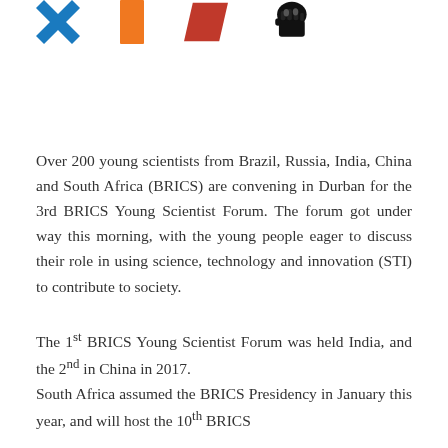[Figure (logo): Four BRICS country logos/emblems in a row: blue angular X (Brazil), orange block (Russia), red diagonal slash (India), black fist emblem (South Africa)]
Over 200 young scientists from Brazil, Russia, India, China and South Africa (BRICS) are convening in Durban for the 3rd BRICS Young Scientist Forum. The forum got under way this morning, with the young people eager to discuss their role in using science, technology and innovation (STI) to contribute to society.
The 1st BRICS Young Scientist Forum was held India, and the 2nd in China in 2017.
South Africa assumed the BRICS Presidency in January this year, and will host the 10th BRICS